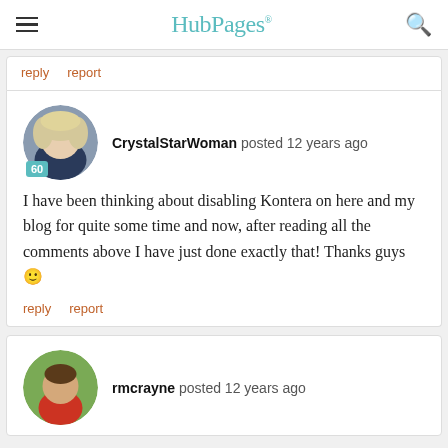HubPages
reply   report
CrystalStarWoman posted 12 years ago

I have been thinking about disabling Kontera on here and my blog for quite some time and now, after reading all the comments above I have just done exactly that! Thanks guys 🙂

reply   report
rmcrayne posted 12 years ago